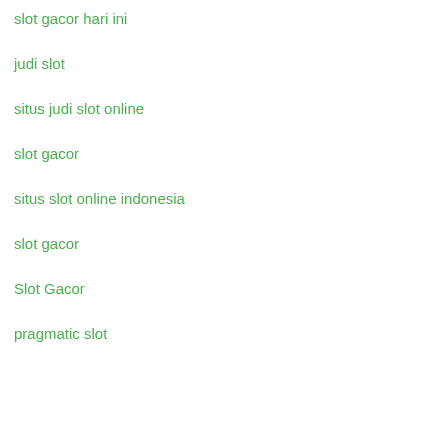slot gacor hari ini
judi slot
situs judi slot online
slot gacor
situs slot online indonesia
slot gacor
Slot Gacor
pragmatic slot